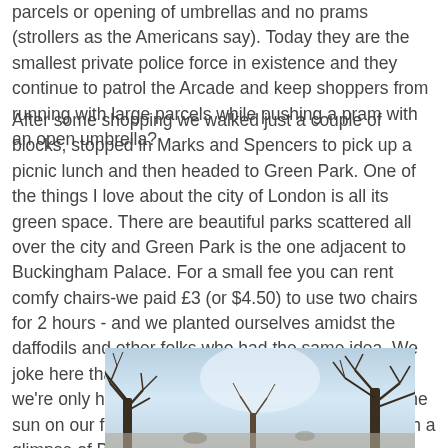parcels or opening of umbrellas and no prams (strollers as the Americans say). Today they are the smallest private police force in existence and they continue to patrol the Arcade and keep shoppers from running with large parcels while pushing a pram with an open umbrella?
After some shopping we walked just a couple of blocks, stopped in Marks and Spencers to pick up a picnic lunch and then headed to Green Park. One of the things I love about the city of London is all its green space. There are beautiful parks scattered all over the city and Green Park is the one adjacent to Buckingham Palace. For a small fee you can rent comfy chairs-we paid £3 (or $4.50) to use two chairs for 2 hours - and we planted ourselves amidst the daffodils and other folks who had the same idea. We joke here that we are Vitamin D deficient but really we're only half joking. It was so nice to sit and feel the sun on our faces and it wasn't too bad either to catch a glimpse of Buckingham Palace thru the trees.
[Figure (photo): Outdoor park photo showing bare winter trees with branches against a light overcast sky, likely Green Park in London near Buckingham Palace.]